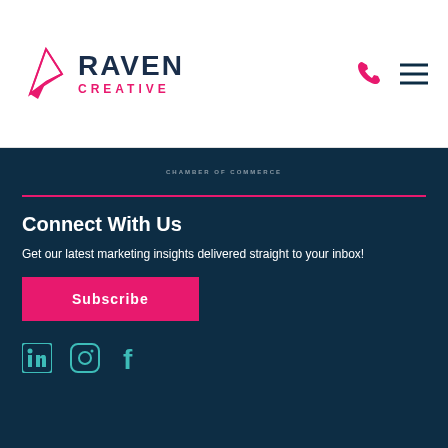[Figure (logo): Raven Creative logo with pink geometric bird icon, dark navy RAVEN text, and pink CREATIVE text below]
[Figure (other): Phone icon and hamburger menu icon in top right navigation]
[Figure (other): Chamber of Commerce small text/logo in dark section]
Connect With Us
Get our latest marketing insights delivered straight to your inbox!
[Figure (other): Subscribe button in pink/magenta]
[Figure (other): Social media icons: LinkedIn, Instagram, Facebook in teal/cyan color]